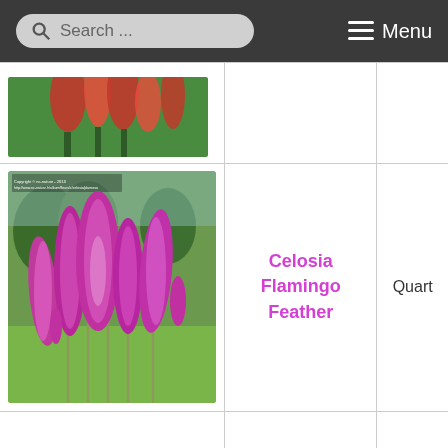Search ... Menu
[Figure (photo): Partial cropped photo of red/pink flowers at the top of the page]
[Figure (photo): Celosia Flamingo Feather plant with tall spiky magenta/pink flower plumes against green grass background]
Celosia Flamingo Feather
Quart